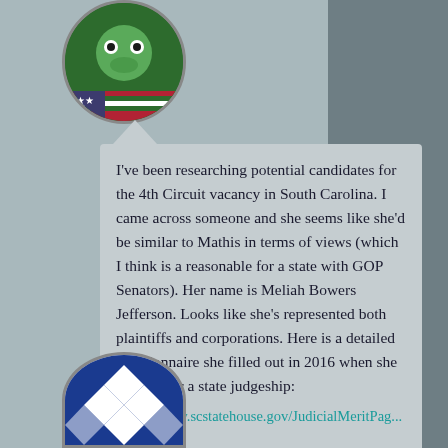[Figure (illustration): Circular avatar with frog/character and US flag overlay at top of comment thread]
I've been researching potential candidates for the 4th Circuit vacancy in South Carolina. I came across someone and she seems like she'd be similar to Mathis in terms of views (which I think is a reasonable for a state with GOP Senators). Her name is Meliah Bowers Jefferson. Looks like she's represented both plaintiffs and corporations. Here is a detailed questionnaire she filled out in 2016 when she applied for a state judgeship:
https://www.scstatehouse.gov/JudicialMeritPag...01
★ Like
posted 24 Jan 2022 at 10:24 pm by Ethan
Reply
[Figure (illustration): Circular avatar with diamond/checker pattern in blue and white at bottom of page]